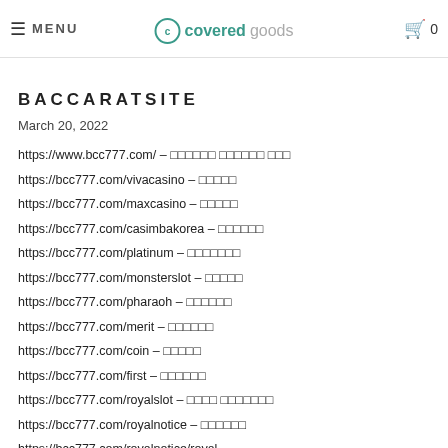≡ MENU | covered goods | 🛒 0
BACCARATSITE
March 20, 2022
https://www.bcc777.com/ – 바카라사이트 온라인카지노 카지노
https://bcc777.com/vivacasino – 비바카지노
https://bcc777.com/maxcasino – 맥스카지노
https://bcc777.com/casimbakorea – 카심바코리아
https://bcc777.com/platinum – 플래티넘카지노
https://bcc777.com/monsterslot – 몬스터슬롯
https://bcc777.com/pharaoh – 파라오카지노
https://bcc777.com/merit – 메리트카지노
https://bcc777.com/coin – 코인카지노
https://bcc777.com/first – 퍼스트카지노
https://bcc777.com/royalslot – 로얄 슬롯카지노
https://bcc777.com/royalnotice – 로얄카지노
https://bcc777.com/royalnotice/royal-